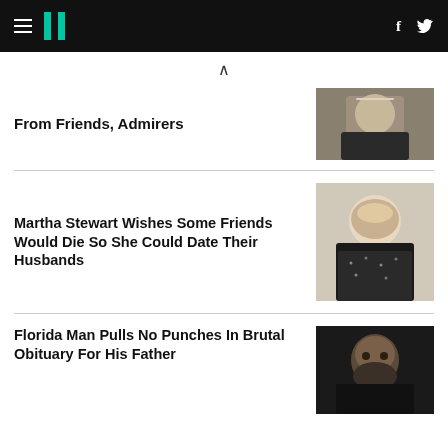HuffPost navigation header with hamburger menu, logo, Facebook and Twitter icons
From Friends, Admirers
[Figure (photo): Older man in dark jacket and open collar shirt, partial view]
Martha Stewart Wishes Some Friends Would Die So She Could Date Their Husbands
[Figure (photo): Martha Stewart smiling, blonde hair, sequin dress, at event]
Florida Man Pulls No Punches In Brutal Obituary For His Father
[Figure (photo): Man with beard and serious expression, dark background]